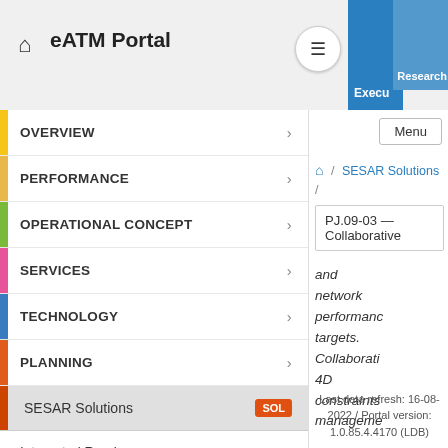eATM Portal | Execu | Research | Deplo
OVERVIEW
PERFORMANCE
OPERATIONAL CONCEPT
SERVICES
TECHNOLOGY
PLANNING
SESAR Solutions SOL
Integrated Roadmap
Operational Improvement Steps OI
Menu
/ SESAR Solutions / PJ.09-03 — Collaborative and network performance targets. Collaborative 4D constraints management
Last data refresh: 16-08-2022 / Portal version: 1.0.85.4.4170 (LDB)